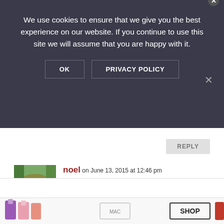We use cookies to ensure that we give you the best experience on our website. If you continue to use this site we will assume that you are happy with it.
OK   PRIVACY POLICY
REPLY
noel on June 13, 2015 at 12:46 pm
[Figure (photo): Avatar photo of commenter noel, a man wearing a khaki/olive hat outdoors]
Fantastic tips, I have yet to visit here. One of these years, I'll make it down to South America and the
[Figure (photo): Advertisement banner showing lipstick products in purple, pink, and red with a SHOP button and MAC-style logo]